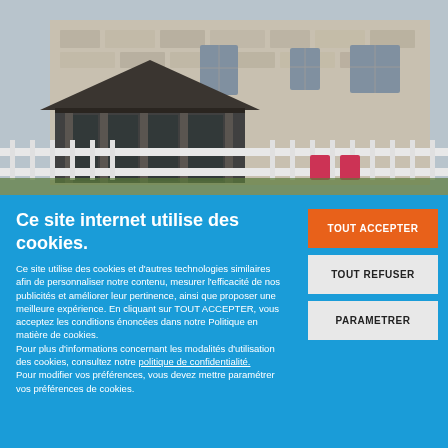[Figure (photo): Photograph of a stone house with a dark-roofed gazebo or veranda structure in front, white fence, and pink chairs visible in the foreground. Overcast sky.]
Ce site internet utilise des cookies.
Ce site utilise des cookies et d'autres technologies similaires afin de personnaliser notre contenu, mesurer l'efficacité de nos publicités et améliorer leur pertinence, ainsi que proposer une meilleure expérience. En cliquant sur TOUT ACCEPTER, vous acceptez les conditions énoncées dans notre Politique en matière de cookies.
Pour plus d'informations concernant les modalités d'utilisation des cookies, consultez notre politique de confidentialité.
Pour modifier vos préférences, vous devez mettre paramétrer vos préférences de cookies.
TOUT ACCEPTER
TOUT REFUSER
PARAMETRER